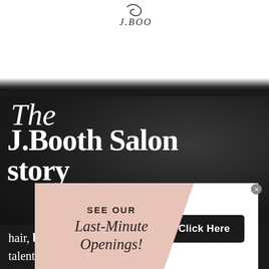[Figure (logo): J.Boo salon logo - cursive script with decorative swirl]
[Figure (photo): Dark background with brush stroke texture over salon interior photo]
The J.Booth Salon story
SEE OUR Last-Minute Openings!
Click Here
hair, but no formal training; simply a natural talent and enjoyment of the profession.